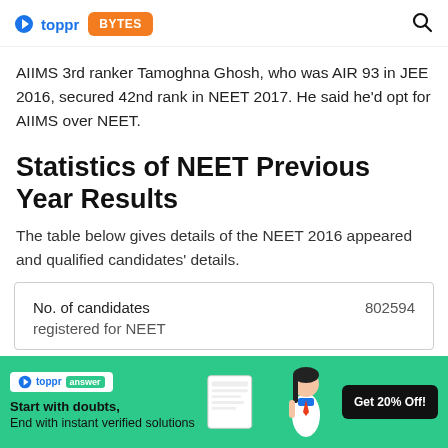toppr BYTES
AIIMS 3rd ranker Tamoghna Ghosh, who was AIR 93 in JEE 2016, secured 42nd rank in NEET 2017. He said he'd opt for AIIMS over NEET.
Statistics of NEET Previous Year Results
The table below gives details of the NEET 2016 appeared and qualified candidates' details.
| No. of candidates registered for NEET | 802594 |
[Figure (infographic): Toppr answer promotional banner with green background. Text: Start with doubts, End with instant verified solutions. Get 20% Off! button. Image of a schoolgirl.]